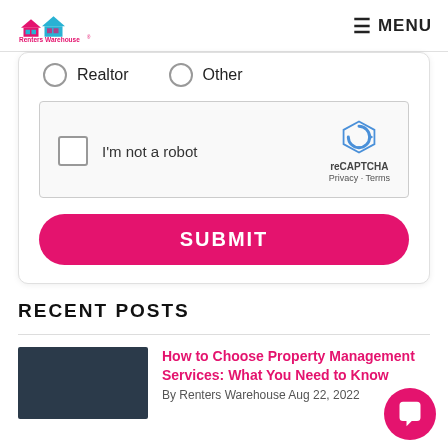Renters Warehouse — MENU
Realtor  Other
[Figure (screenshot): reCAPTCHA widget with checkbox 'I'm not a robot' and reCAPTCHA logo]
SUBMIT
RECENT POSTS
How to Choose Property Management Services: What You Need to Know
By Renters Warehouse Aug 22, 2022